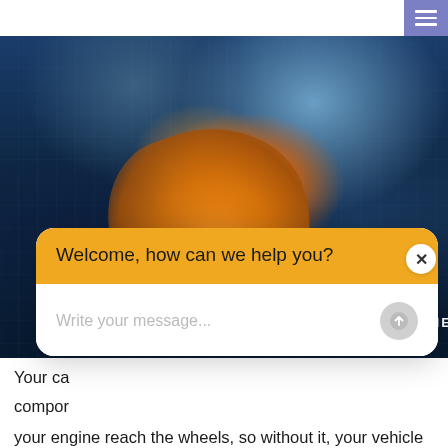[Figure (screenshot): HB Auto & AC website screenshot showing a mechanic working under a car with orange gloves and a tool, with the company logo 'HB AUTO & AC' and tagline 'TRANSMISSION SERVICE - REPAIR & REPLACEMENT']
Welcome, how can we help you?
Write your message...
Your car... compor... your engine reach the wheels, so without it, your vehicle